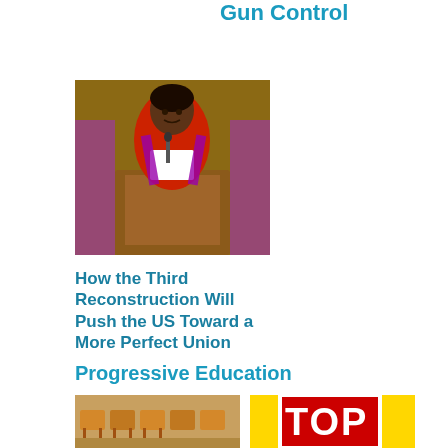Gun Control
[Figure (photo): Person speaking at a podium, wearing red and white clothing]
How the Third Reconstruction Will Push the US Toward a More Perfect Union
Progressive Education
[Figure (photo): Classroom with wooden desks/chairs]
[Figure (photo): Stop sign on a school bus, yellow background, red sign showing 'TOP' (STOP)]